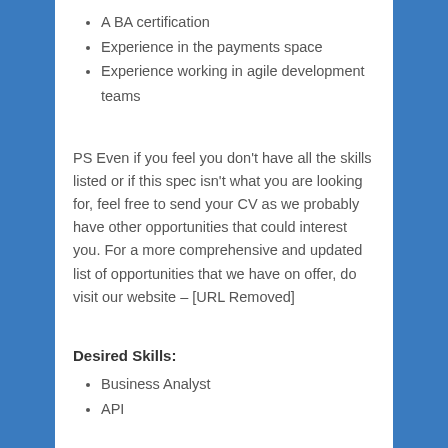A BA certification
Experience in the payments space
Experience working in agile development teams
PS Even if you feel you don't have all the skills listed or if this spec isn't what you are looking for, feel free to send your CV as we probably have other opportunities that could interest you. For a more comprehensive and updated list of opportunities that we have on offer, do visit our website – [URL Removed]
Desired Skills:
Business Analyst
API